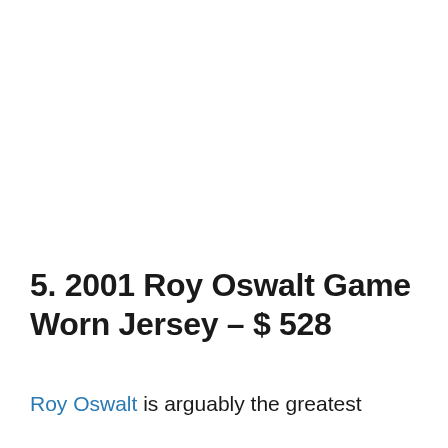5. 2001 Roy Oswalt Game Worn Jersey – $ 528
Roy Oswalt is arguably the greatest